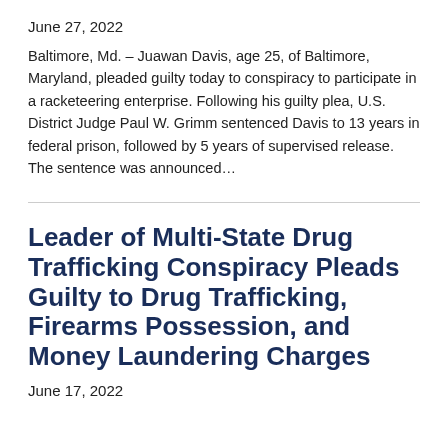June 27, 2022
Baltimore, Md. – Juawan Davis, age 25, of Baltimore, Maryland, pleaded guilty today to conspiracy to participate in a racketeering enterprise. Following his guilty plea, U.S. District Judge Paul W. Grimm sentenced Davis to 13 years in federal prison, followed by 5 years of supervised release. The sentence was announced…
Leader of Multi-State Drug Trafficking Conspiracy Pleads Guilty to Drug Trafficking, Firearms Possession, and Money Laundering Charges
June 17, 2022